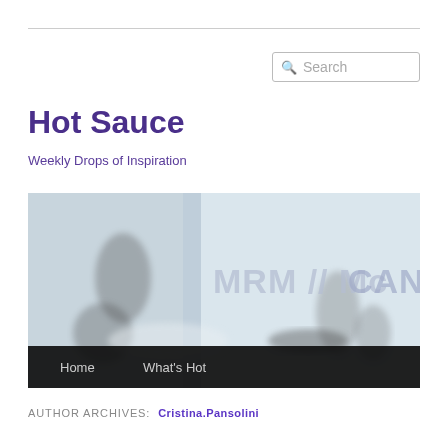Hot Sauce
Weekly Drops of Inspiration
[Figure (photo): Blurred office scene behind glass with MRM // McCann logo text visible. People working in background. Navigation bar at bottom with Home and What's Hot links.]
AUTHOR ARCHIVES: Cristina.Pansolini